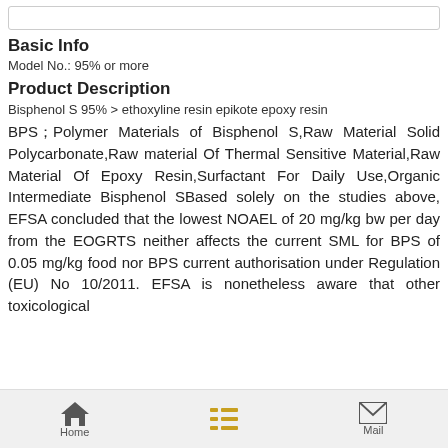Basic Info
Model No.: 95% or more
Product Description
Bisphenol S 95% > ethoxyline resin epikote epoxy resin
BPS；Polymer Materials of Bisphenol S,Raw Material Solid Polycarbonate,Raw material Of Thermal Sensitive Material,Raw Material Of Epoxy Resin,Surfactant For Daily Use,Organic Intermediate Bisphenol SBased solely on the studies above, EFSA concluded that the lowest NOAEL of 20 mg/kg bw per day from the EOGRTS neither affects the current SML for BPS of 0.05 mg/kg food nor BPS current authorisation under Regulation (EU) No 10/2011. EFSA is nonetheless aware that other toxicological
Home  Mail